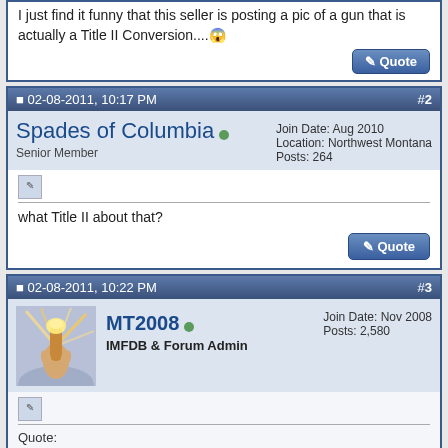I just find it funny that this seller is posting a pic of a gun that is actually a Title II Conversion....😲
02-08-2011, 10:17 PM   #2
Spades of Columbia  Senior Member   Join Date: Aug 2010  Location: Northwest Montana  Posts: 264
what Title II about that?
02-08-2011, 10:22 PM   #3
MT2008  IMFDB & Forum Admin   Join Date: Nov 2008  Posts: 2,580
Quote: Originally Posted by MoviePropMaster2008  http://www.gunbroker.com/Auction/Vie...=215255473#PIC